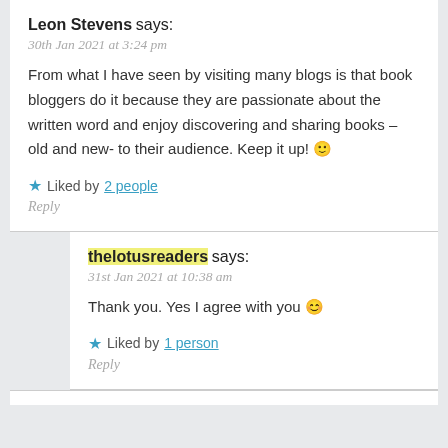Leon Stevens says:
30th Jan 2021 at 3:24 pm
From what I have seen by visiting many blogs is that book bloggers do it because they are passionate about the written word and enjoy discovering and sharing books – old and new- to their audience. Keep it up! 🙂
★ Liked by 2 people
Reply
thelotusreaders says:
31st Jan 2021 at 10:38 am
Thank you. Yes I agree with you 😊
★ Liked by 1 person
Reply